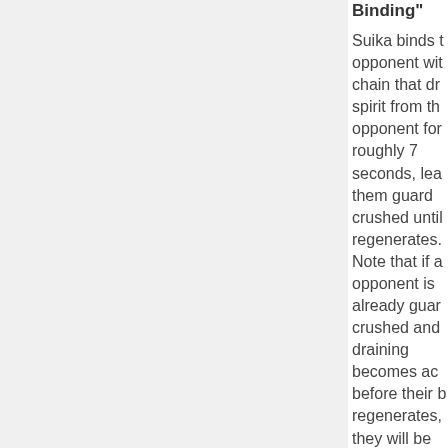Binding"
Suika binds the opponent with a chain that drains spirit from the opponent for roughly 7 seconds, leaving them guard crushed until it regenerates. Note that if an opponent is already guard crushed and draining becomes active before their bar regenerates, they will be